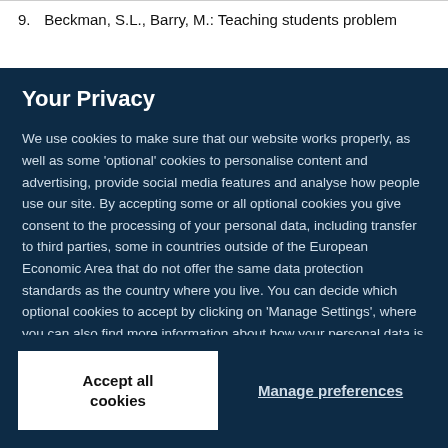9. Beckman, S.L., Barry, M.: Teaching students problem
Your Privacy
We use cookies to make sure that our website works properly, as well as some ‘optional’ cookies to personalise content and advertising, provide social media features and analyse how people use our site. By accepting some or all optional cookies you give consent to the processing of your personal data, including transfer to third parties, some in countries outside of the European Economic Area that do not offer the same data protection standards as the country where you live. You can decide which optional cookies to accept by clicking on ‘Manage Settings’, where you can also find more information about how your personal data is processed. Further information can be found in our privacy policy.
Accept all cookies
Manage preferences